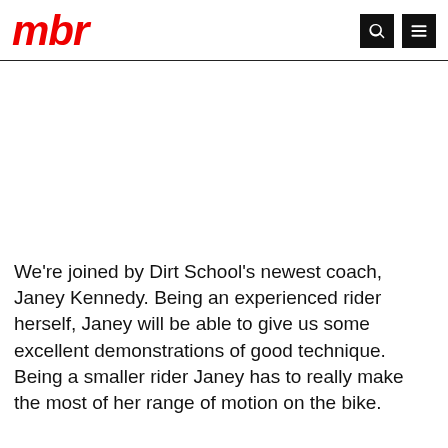mbr
[Figure (photo): White/blank image area placeholder]
We’re joined by Dirt School’s newest coach, Janey Kennedy. Being an experienced rider herself, Janey will be able to give us some excellent demonstrations of good technique. Being a smaller rider Janey has to really make the most of her range of motion on the bike.